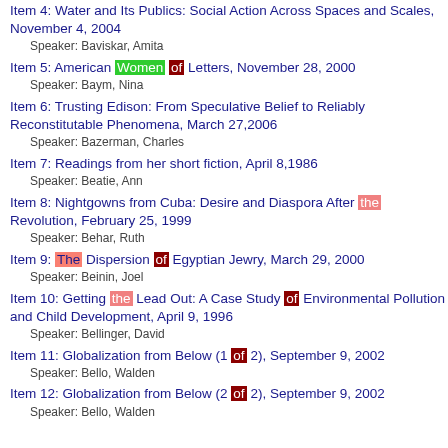Item 4: Water and Its Publics: Social Action Across Spaces and Scales, November 4, 2004
Speaker: Baviskar, Amita
Item 5: American Women of Letters, November 28, 2000
Speaker: Baym, Nina
Item 6: Trusting Edison: From Speculative Belief to Reliably Reconstitutable Phenomena, March 27,2006
Speaker: Bazerman, Charles
Item 7: Readings from her short fiction, April 8,1986
Speaker: Beatie, Ann
Item 8: Nightgowns from Cuba: Desire and Diaspora After the Revolution, February 25, 1999
Speaker: Behar, Ruth
Item 9: The Dispersion of Egyptian Jewry, March 29, 2000
Speaker: Beinin, Joel
Item 10: Getting the Lead Out: A Case Study of Environmental Pollution and Child Development, April 9, 1996
Speaker: Bellinger, David
Item 11: Globalization from Below (1 of 2), September 9, 2002
Speaker: Bello, Walden
Item 12: Globalization from Below (2 of 2), September 9, 2002
Speaker: Bello, Walden